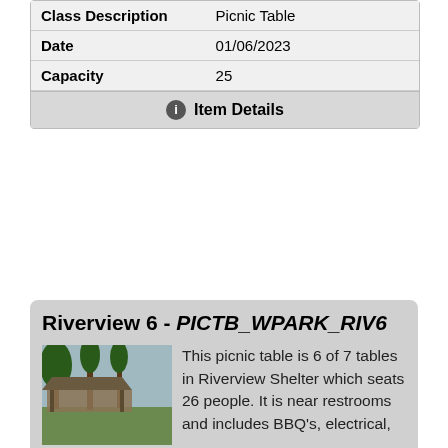| Field | Value |
| --- | --- |
| Class Description | Picnic Table |
| Date | 01/06/2023 |
| Capacity | 25 |
Item Details
Riverview 6 - PICTB_WPARK_RIV6
[Figure (photo): Outdoor park shelter with trees in background, Riverview park]
This picnic table is 6 of 7 tables in Riverview Shelter which seats 26 people. It is near restrooms and includes BBQ's, electrical, a playground is across the street, it has a water fountain, and it's near the dog park area within the park. WINTER HOURS: 7:00 am - 7:00 pm (Nov. 1 - March 9) No refunds will be given because of inclement weather or electrical